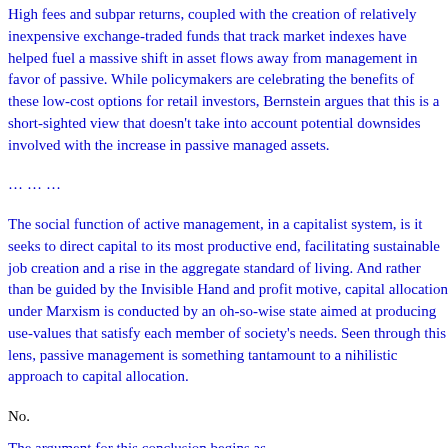High fees and subpar returns, coupled with the creation of relatively inexpensive exchange-traded funds that track market indexes have helped fuel a massive shift in asset flows away from management in favor of passive. While policymakers are celebrating the benefits of these low-cost options for retail investors, Bernstein argues that this is a short-sighted view that doesn't take into account potential downsides involved with the increase in passive managed assets.
………
The social function of active management, in a capitalist system, is it seeks to direct capital to its most productive end, facilitating sustainable job creation and a rise in the aggregate standard of living. And rather than be guided by the Invisible Hand and profit motive, capital allocation under Marxism is conducted by an oh-so-wise state aimed at producing use-values that satisfy each member of society's needs. Seen through this lens, passive management is something tantamount to a nihilistic approach to capital allocation.
No.
The argument for this conclusion begins as...